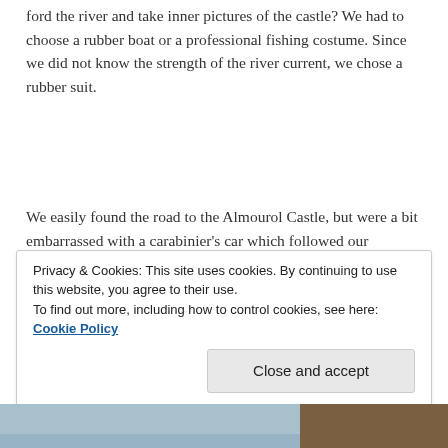ford the river and take inner pictures of the castle? We had to choose a rubber boat or a professional fishing costume. Since we did not know the strength of the river current, we chose a rubber suit.
We easily found the road to the Almourol Castle, but were a bit embarrassed with a carabinier’s car which followed our Citroen, then overtook us and disappeared ahead. As it turned out, the Tejo River level had risen and the authorities were alerted. The access to the Almourol
Privacy & Cookies: This site uses cookies. By continuing to use this website, you agree to their use.
To find out more, including how to control cookies, see here: Cookie Policy
Close and accept
[Figure (photo): Bottom strip showing a photograph of a castle and a river scene]